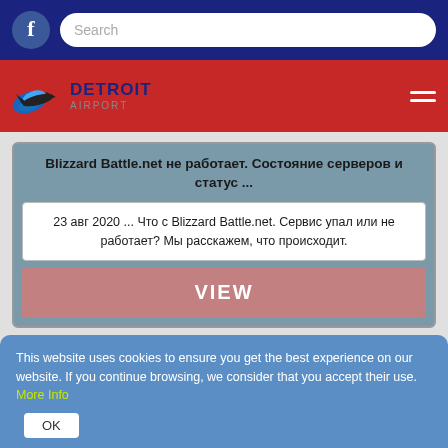Facebook icon | Search bar | Detroit Airport logo | Hamburger menu
Blizzard Battle.net не работает. Состояние серверов и статус ...
23 авг 2020 ... Что с Blizzard Battle.net. Сервис упал или не работает? Мы расскажем, что происходит.
VIEW
This website uses cookies to ensure you get the best experience on our website. If you continue browsing, we consider that you accept their use. More Info OK